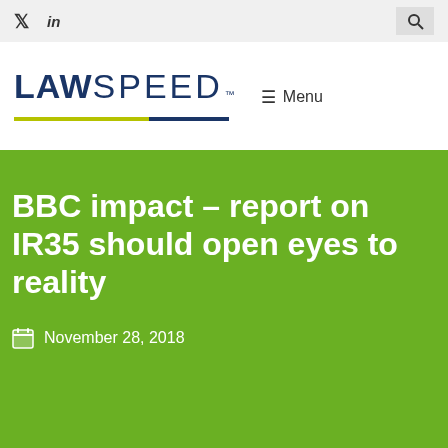Twitter  LinkedIn  Search
[Figure (logo): LAWSPEED logo with yellow and navy underline, followed by hamburger menu icon and 'Menu' text]
BBC impact – report on IR35 should open eyes to reality
November 28, 2018